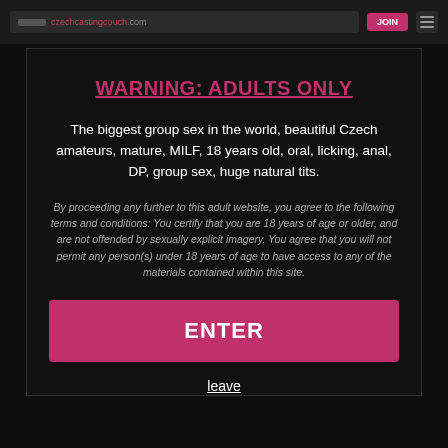[browser top bar with URL and navigation]
WARNING: ADULTS ONLY
The biggest group sex in the world, beautiful Czech amateurs, mature, MILF, 18 years old, oral, licking, anal, DP, group sex, huge natural tits.
By proceeding any further to this adult website, you agree to the following terms and conditions: You certify that you are 18 years of age or older, and are not offended by sexually explicit imagery. You agree that you will not permit any person(s) under 18 years of age to have access to any of the materials contained within this site.
ENTER
leave